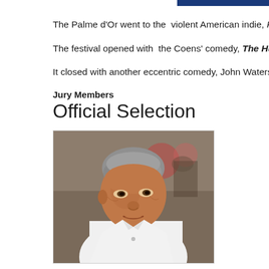The Palme d'Or went to the  violent American indie, Pulp Fiction, directed
The festival opened with  the Coens' comedy, The Hudsucker Proxy, s
It closed with another eccentric comedy, John Waters' Serial Mom, starr
Jury Members
Official Selection
[Figure (photo): A man in a white tuxedo jacket with black bow tie, gray hair, photographed at what appears to be a formal event. Crowd visible in background.]